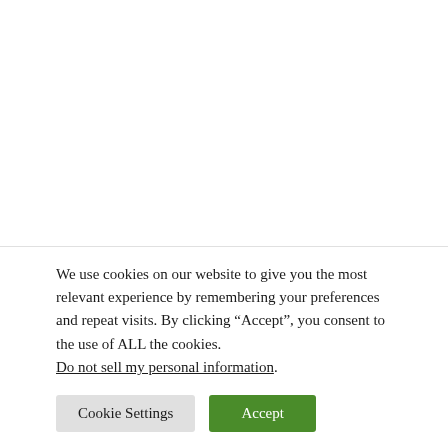Photo: John Gurzinski/AFP/Getty Images
On May 7, 2016, just over six years ago, Saúl
We use cookies on our website to give you the most relevant experience by remembering your preferences and repeat visits. By clicking “Accept”, you consent to the use of ALL the cookies. Do not sell my personal information.